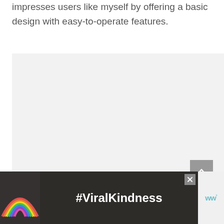impresses users like myself by offering a basic design with easy-to-operate features.
[Figure (other): Large light gray placeholder/content box]
[Figure (other): Gray scroll-to-top button with upward chevron arrow]
[Figure (other): Advertisement banner with rainbow chalk drawing, #ViralKindness text, close button, and WW logo]